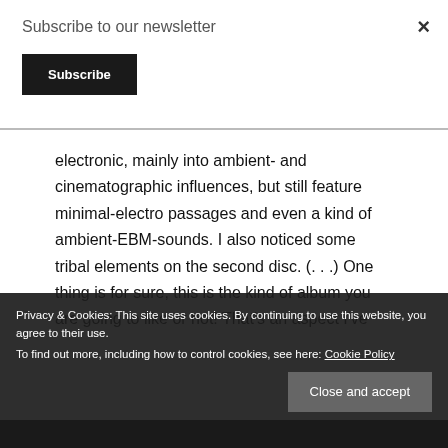Subscribe to our newsletter
Subscribe
×
electronic, mainly into ambient- and cinematographic influences, but still feature minimal-electro passages and even a kind of ambient-EBM-sounds. I also noticed some tribal elements on the second disc. (. . .) One thing is for sure, this is the kind of album you are going to like or not! That's an aspect I've
Privacy & Cookies: This site uses cookies. By continuing to use this website, you agree to their use.
To find out more, including how to control cookies, see here: Cookie Policy
Close and accept